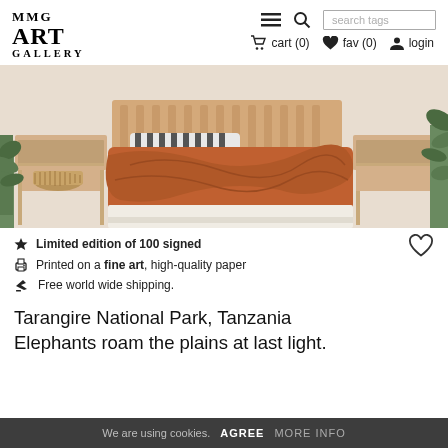[Figure (logo): MMG ART GALLERY logo in bold serif font]
Navigation bar with menu icon, search icon, search tags input, cart (0), fav (0), login
[Figure (photo): Interior bedroom scene with warm orange/rust bedding on a wooden bed frame, wooden nightstands, and green plants]
Limited edition of 100 signed
Printed on a fine art, high-quality paper
Free world wide shipping.
Tarangire National Park, Tanzania
Elephants roam the plains at last light.
We are using cookies. AGREE MORE INFO